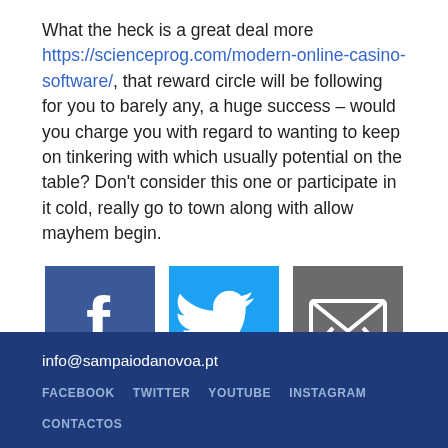What the heck is a great deal more https://scienceprog.com/modern-online-casino-software/, that reward circle will be following for you to barely any, a huge success – would you charge you with regard to wanting to keep on tinkering with which usually potential on the table? Don't consider this one or participate in it cold, really go to town along with allow mayhem begin.
[Figure (infographic): Three social sharing buttons: Facebook (blue with f logo), Twitter (light blue with bird logo), and Email (gray with envelope icon)]
info@sampaiodanovoa.pt
FACEBOOK  TWITTER  YOUTUBE  INSTAGRAM
CONTACTOS